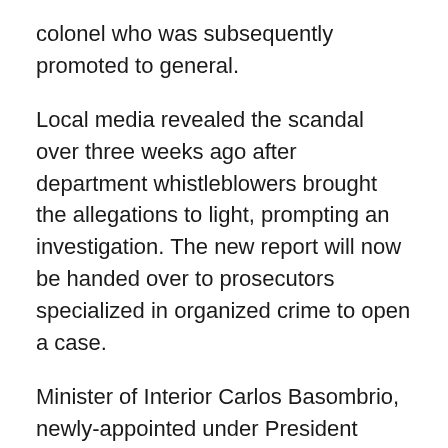colonel who was subsequently promoted to general.
Local media revealed the scandal over three weeks ago after department whistleblowers brought the allegations to light, prompting an investigation. The new report will now be handed over to prosecutors specialized in organized crime to open a case.
Minister of Interior Carlos Basombrio, newly-appointed under President Pedro Pablo Kuczynski and inaugurated at the end of July, claimed that the evidence suggests that a group of high-ranking police officials who moved between divisions are responsible for running the death squad, and that no single police force unit itself is compromised.
Authorities also revealed that several of the officers